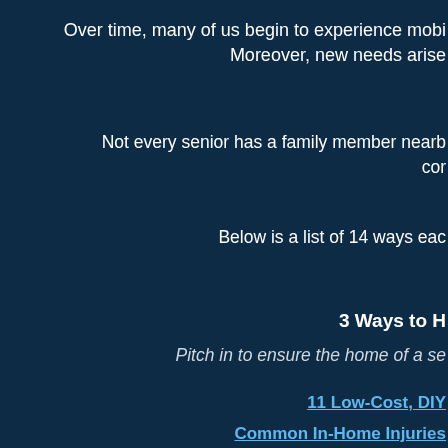Over time, many of us begin to experience mobi… Moreover, new needs arise…
Not every senior has a family member nearby… cor…
Below is a list of 14 ways eac…
3 Ways to H…
Pitch in to ensure the home of a se…
11 Low-Cost, DIY…
Common In-Home Injuries…